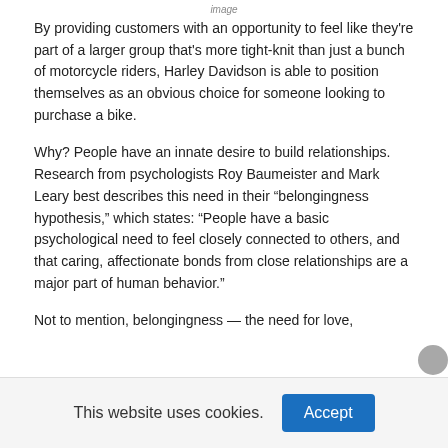image
By providing customers with an opportunity to feel like they're part of a larger group that's more tight-knit than just a bunch of motorcycle riders, Harley Davidson is able to position themselves as an obvious choice for someone looking to purchase a bike.
Why? People have an innate desire to build relationships. Research from psychologists Roy Baumeister and Mark Leary best describes this need in their “belongingness hypothesis,” which states: “People have a basic psychological need to feel closely connected to others, and that caring, affectionate bonds from close relationships are a major part of human behavior.”
Not to mention, belongingness — the need for love,
This website uses cookies.